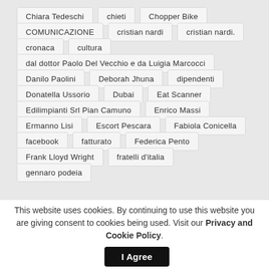Chiara Tedeschi
chieti
Chopper Bike
COMUNICAZIONE
cristian nardi
cristian nardi.
cronaca
cultura
dal dottor Paolo Del Vecchio e da Luigia Marcocci
Danilo Paolini
Deborah Jhuna
dipendenti
Donatella Ussorio
Dubai
Eat Scanner
Edilimpianti Srl Pian Camuno
Enrico Massi
Ermanno Lisi
Escort Pescara
Fabiola Conicella
facebook
fatturato
Federica Pento
Frank Lloyd Wright
fratelli d'italia
gennaro podeia
This website uses cookies. By continuing to use this website you are giving consent to cookies being used. Visit our Privacy and Cookie Policy.
I Agree